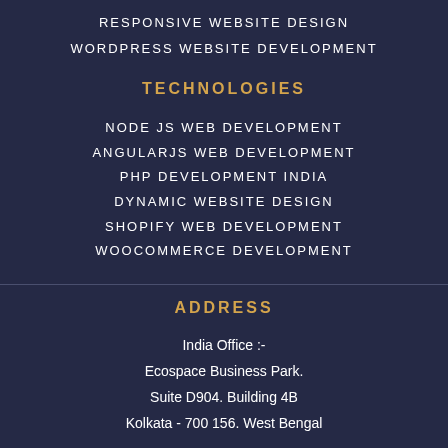RESPONSIVE WEBSITE DESIGN
WORDPRESS WEBSITE DEVELOPMENT
TECHNOLOGIES
NODE JS WEB DEVELOPMENT
ANGULARJS WEB DEVELOPMENT
PHP DEVELOPMENT INDIA
DYNAMIC WEBSITE DESIGN
SHOPIFY WEB DEVELOPMENT
WOOCOMMERCE DEVELOPMENT
ADDRESS
India Office :-
Ecospace Business Park.
Suite D904. Building 4B
Kolkata - 700 156. West Bengal